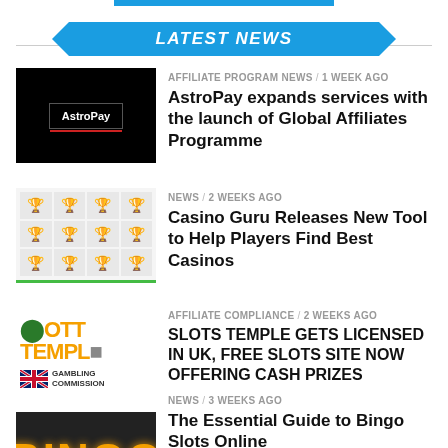LATEST NEWS
[Figure (photo): AstroPay logo on black background with red underline]
AFFILIATE PROGRAM NEWS / 1 week ago
AstroPay expands services with the launch of Global Affiliates Programme
[Figure (screenshot): Casino Guru tool screenshot showing grid of casino ratings]
NEWS / 2 weeks ago
Casino Guru Releases New Tool to Help Players Find Best Casinos
[Figure (logo): Slots Temple logo in orange with UK Gambling Commission badge]
AFFILIATE COMPLIANCE / 2 weeks ago
SLOTS TEMPLE GETS LICENSED IN UK, FREE SLOTS SITE NOW OFFERING CASH PRIZES
[Figure (photo): Bingo letters illuminated on dark background]
NEWS / 3 weeks ago
The Essential Guide to Bingo Slots Online